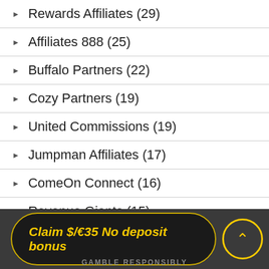Rewards Affiliates (29)
Affiliates 888 (25)
Buffalo Partners (22)
Cozy Partners (19)
United Commissions (19)
Jumpman Affiliates (17)
ComeOn Connect (16)
Revenue Giants (15)
7 Stars Partners (13)
Show All Affiliates
Claim $/€35 No deposit bonus | GAMBLE RESPONSIBLY